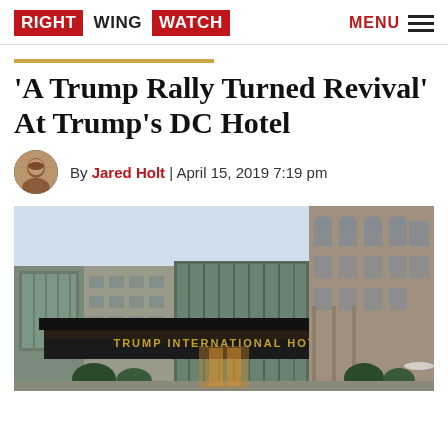RIGHT WING WATCH | MENU
'A Trump Rally Turned Revival' At Trump's DC Hotel
By Jared Holt | April 15, 2019 7:19 pm
[Figure (photo): Exterior photograph of Trump International Hotel in Washington DC, showing the dark canopy with gold lettering 'TRUMP INTERNATIONAL HOTEL', modern glass and stone building facade, and historic ornate building visible to the right, taken on an overcast day.]